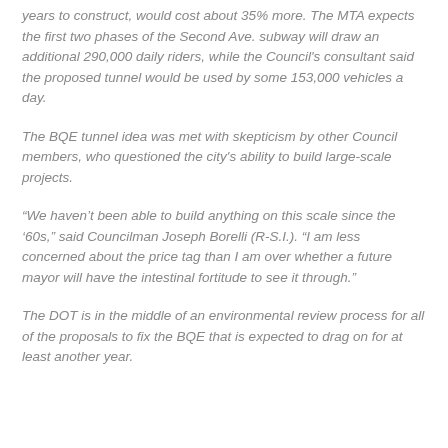years to construct, would cost about 35% more. The MTA expects the first two phases of the Second Ave. subway will draw an additional 290,000 daily riders, while the Council's consultant said the proposed tunnel would be used by some 153,000 vehicles a day.
The BQE tunnel idea was met with skepticism by other Council members, who questioned the city's ability to build large-scale projects.
“We haven’t been able to build anything on this scale since the ’60s,” said Councilman Joseph Borelli (R-S.I.). “I am less concerned about the price tag than I am over whether a future mayor will have the intestinal fortitude to see it through.”
The DOT is in the middle of an environmental review process for all of the proposals to fix the BQE that is expected to drag on for at least another year.